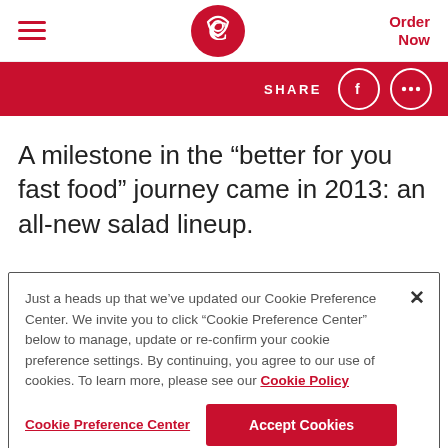≡  [Chick-fil-A logo]  Order Now
SHARE
A milestone in the “better for you fast food” journey came in 2013: an all-new salad lineup.
Just a heads up that we’ve updated our Cookie Preference Center. We invite you to click “Cookie Preference Center” below to manage, update or re-confirm your cookie preference settings. By continuing, you agree to our use of cookies. To learn more, please see our Cookie Policy
Cookie Preference Center    Accept Cookies